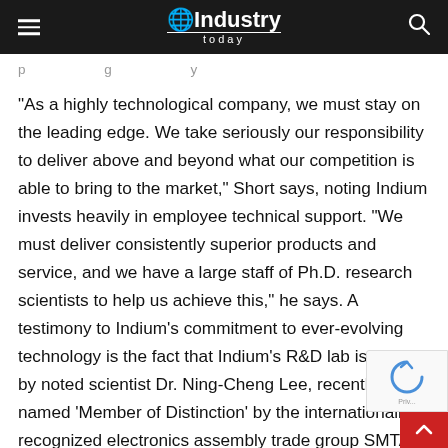Industry Today
p ... g ... y ...
“As a highly technological company, we must stay on the leading edge. We take seriously our responsibility to deliver above and beyond what our competition is able to bring to the market,” Short says, noting Indium invests heavily in employee technical support. “We must deliver consistently superior products and service, and we have a large staff of Ph.D. research scientists to help us achieve this,” he says. A testimony to Indium’s commitment to ever-evolving technology is the fact that Indium’s R&D lab is headed by noted scientist Dr. Ning-Cheng Lee, recently named ‘Member of Distinction’ by the internationally recognized electronics assembly trade group SMTA (Surface Mount Technology Association).